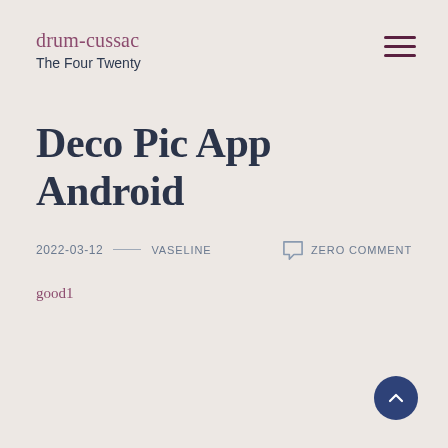drum-cussac
The Four Twenty
Deco Pic App Android
2022-03-12 — VASELINE   ZERO COMMENT
good1